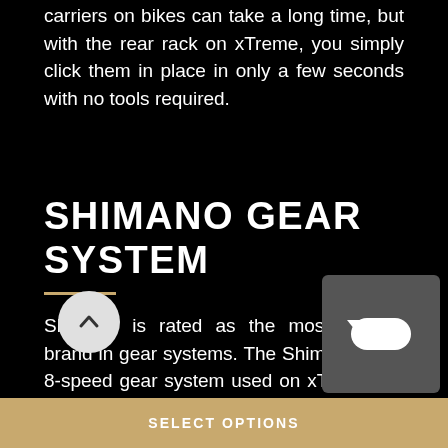carriers on bikes can take a long time, but with the rear rack on xTreme, you simply click them in place in only a few seconds with no tools required.
SHIMANO GEAR SYSTEM
Shimano is rated as the most reliable brand in gear systems. The Shimano Altus 8-speed gear system used on xTreme will give the smoothest ride ever! It's so quiet and s…
SELECT OPTIONS